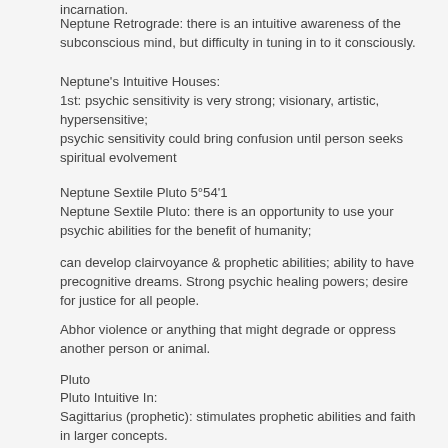incarnation.
Neptune Retrograde: there is an intuitive awareness of the subconscious mind, but difficulty in tuning in to it consciously.
Neptune's Intuitive Houses:
1st: psychic sensitivity is very strong; visionary, artistic, hypersensitive;
psychic sensitivity could bring confusion until person seeks spiritual evolvement
Neptune Sextile Pluto 5°54'1
Neptune Sextile Pluto: there is an opportunity to use your psychic abilities for the benefit of humanity;
can develop clairvoyance & prophetic abilities; ability to have precognitive dreams. Strong psychic healing powers; desire for justice for all people.
Abhor violence or anything that might degrade or oppress another person or animal.
Pluto
Pluto Intuitive In:
Sagittarius (prophetic): stimulates prophetic abilities and faith in larger concepts.